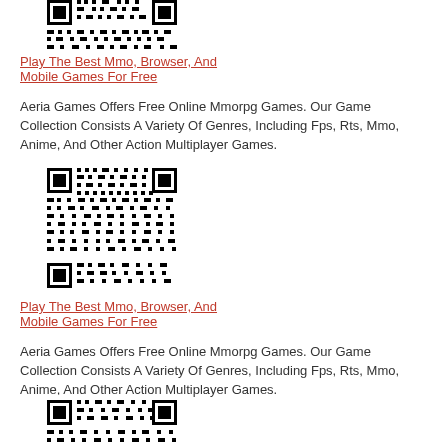[Figure (other): QR code (partial, top-cropped)]
Play The Best Mmo, Browser, And Mobile Games For Free
Aeria Games Offers Free Online Mmorpg Games. Our Game Collection Consists A Variety Of Genres, Including Fps, Rts, Mmo, Anime, And Other Action Multiplayer Games.
[Figure (other): QR code]
Play The Best Mmo, Browser, And Mobile Games For Free
Aeria Games Offers Free Online Mmorpg Games. Our Game Collection Consists A Variety Of Genres, Including Fps, Rts, Mmo, Anime, And Other Action Multiplayer Games.
[Figure (other): QR code (partial, bottom-cropped)]